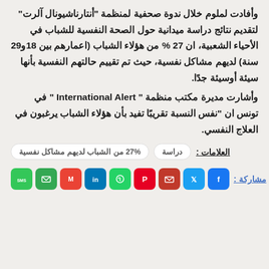وأفادت لملوم خلال ندوة صحفية لمنظمة "أنتارناشيونال آلرت" لتقديم نتائج دراسة ميدانية حول الصحة النفسية للشباب في الأحياء الشعبية، ان 27 % من هؤلاء الشباب (اعمارهم بين 18و29 سنة) لديهم مشاكل نفسية، حيث تم تقييم حالتهم النفسية بأنها سيئة أوسيئة جدًا.
وأشارت مديرة مكتب منظمة " International Alert " في تونس ان "نفس النسبة تقريبًا تفيد بأن هؤلاء الشباب يرغبون في العلاج النفسي.
العلامات : دراسة | 27% من الشباب لديهم مشاكل نفسية
مشاركة : [social share icons]